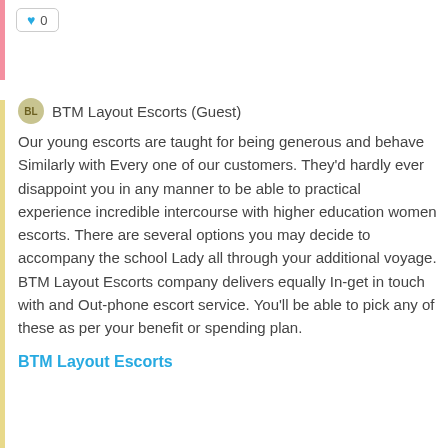[Figure (other): Heart/like button with count 0]
BTM Layout Escorts (Guest)
Our young escorts are taught for being generous and behave Similarly with Every one of our customers. They'd hardly ever disappoint you in any manner to be able to practical experience incredible intercourse with higher education women escorts. There are several options you may decide to accompany the school Lady all through your additional voyage. BTM Layout Escorts company delivers equally In-get in touch with and Out-phone escort service. You'll be able to pick any of these as per your benefit or spending plan.
BTM Layout Escorts